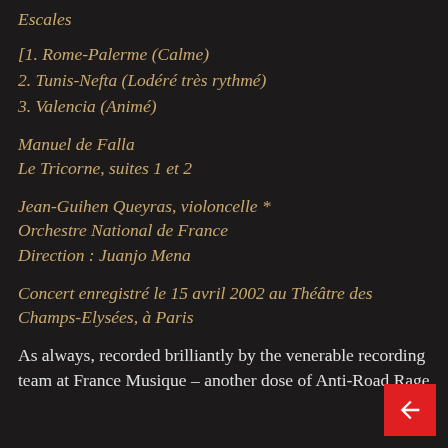Escales
[1. Rome-Palerme (Calme)
2. Tunis-Nefta (Lodéré très rythmé)
3. Valencia (Animé)
Manuel de Falla
Le Tricorne, suites 1 et 2
Jean-Guihen Queyras, violoncelle *
Orchestre National de France
Direction : Juanjo Mena
Concert enregistré le 15 avril 2002 au Théâtre des Champs-Elysées, à Paris
As always, recorded brilliantly by the venerable recording team at France Musique – another dose of Anti-Road Rage